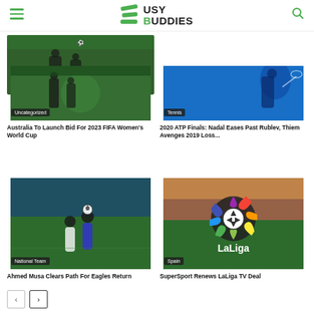Busy Buddies
[Figure (photo): Sports image with Uncategorized badge — Australia FIFA Women's World Cup article]
Australia To Launch Bid For 2023 FIFA Women's World Cup
[Figure (photo): Tennis player image with Tennis badge — ATP Finals article]
2020 ATP Finals: Nadal Eases Past Rublev, Thiem Avenges 2019 Loss...
[Figure (photo): Soccer player heading ball with National Team badge — Ahmed Musa article]
Ahmed Musa Clears Path For Eagles Return
[Figure (photo): LaLiga logo on stadium background with Spain badge — SuperSport LaLiga article]
SuperSport Renews LaLiga TV Deal